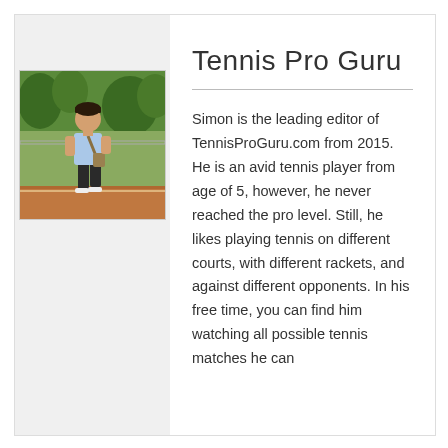[Figure (photo): Photo of Simon standing on a tennis court, wearing a light blue shirt and dark shorts, with trees in the background.]
Tennis Pro Guru
Simon is the leading editor of TennisProGuru.com from 2015. He is an avid tennis player from age of 5, however, he never reached the pro level. Still, he likes playing tennis on different courts, with different rackets, and against different opponents. In his free time, you can find him watching all possible tennis matches he can